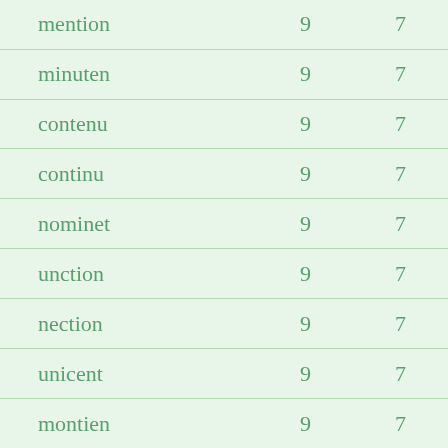| mention | 9 | 7 |
| minuten | 9 | 7 |
| contenu | 9 | 7 |
| continu | 9 | 7 |
| nominet | 9 | 7 |
| unction | 9 | 7 |
| nection | 9 | 7 |
| unicent | 9 | 7 |
| montien | 9 | 7 |